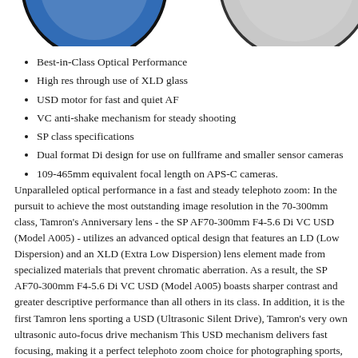[Figure (logo): Partial logo/product image showing blue and grey circular design elements, cropped at top of page]
Best-in-Class Optical Performance
High res through use of XLD glass
USD motor for fast and quiet AF
VC anti-shake mechanism for steady shooting
SP class specifications
Dual format Di design for use on fullframe and smaller sensor cameras
109-465mm equivalent focal length on APS-C cameras.
Unparalleled optical performance in a fast and steady telephoto zoom: In the pursuit to achieve the most outstanding image resolution in the 70-300mm class, Tamron's Anniversary lens - the SP AF70-300mm F4-5.6 Di VC USD (Model A005) - utilizes an advanced optical design that features an LD (Low Dispersion) and an XLD (Extra Low Dispersion) lens element made from specialized materials that prevent chromatic aberration. As a result, the SP AF70-300mm F4-5.6 Di VC USD (Model A005) boasts sharper contrast and greater descriptive performance than all others in its class. In addition, it is the first Tamron lens sporting a USD (Ultrasonic Silent Drive), Tamron's very own ultrasonic auto-focus drive mechanism This USD mechanism delivers fast focusing, making it a perfect telephoto zoom choice for photographing sports, racing, or other fast-moving subjects. The lens also boasts Tamron's proprietary VC (Vibration Compensation) image stabilization to assist in handheld photography, not only at long focal length ranges where blurring is common, but also under low-lit